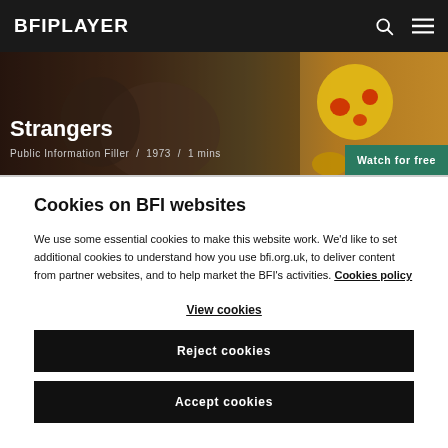BFI PLAYER
Strangers
Public Information Filler  /  1973  /  1 mins
Watch for free
Cookies on BFI websites
We use some essential cookies to make this website work. We'd like to set additional cookies to understand how you use bfi.org.uk, to deliver content from partner websites, and to help market the BFI's activities. Cookies policy
View cookies
Reject cookies
Accept cookies